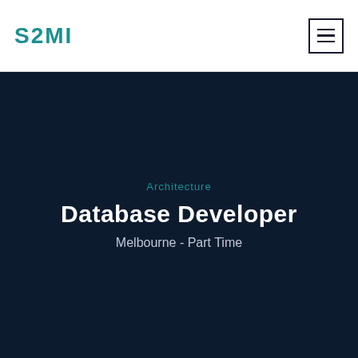[Figure (logo): S2MI company logo in teal/green color]
[Figure (other): Hamburger menu icon with three horizontal lines inside a square border]
Architecture
Database Developer
Melbourne - Part Time